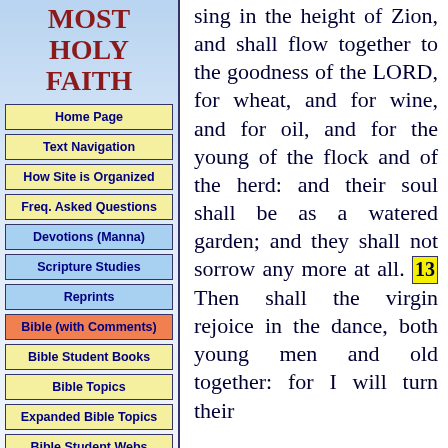MOST HOLY FAITH
Home Page
Text Navigation
How Site is Organized
Freq. Asked Questions
Devotions (Manna)
Scripture Studies
Reprints
Bible (with Comments)
Bible Student Books
Bible Topics
Expanded Bible Topics
Bible Student Webs
Miscellaneous
sing in the height of Zion, and shall flow together to the goodness of the LORD, for wheat, and for wine, and for oil, and for the young of the flock and of the herd: and their soul shall be as a watered garden; and they shall not sorrow any more at all. 13 Then shall the virgin rejoice in the dance, both young men and old together: for I will turn their